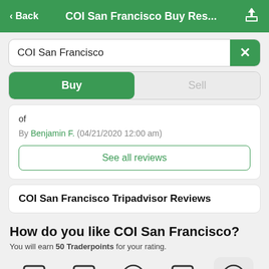< Back   COI San Francisco Buy Res...   [share]
COI San Francisco
Buy | Sell
of
By Benjamin F. (04/21/2020 12:00 am)
See all reviews
COI San Francisco Tripadvisor Reviews
How do you like COI San Francisco?
You will earn 50 Traderpoints for your rating.
[Figure (infographic): Five emoji rating buttons: four outlined squares and two emoji faces (neutral and heart-eyes), with heart-eyes emoji on a highlighted background]